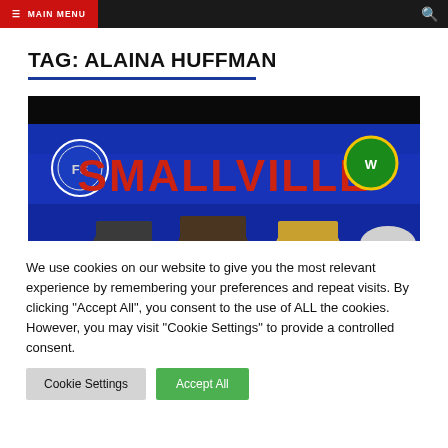MAIN MENU
TAG: ALAINA HUFFMAN
[Figure (photo): Panel photo showing people seated in front of a blue backdrop with the word SMALLVILLE in large red letters, with event logos on each side]
We use cookies on our website to give you the most relevant experience by remembering your preferences and repeat visits. By clicking "Accept All", you consent to the use of ALL the cookies. However, you may visit "Cookie Settings" to provide a controlled consent.
Cookie Settings | Accept All